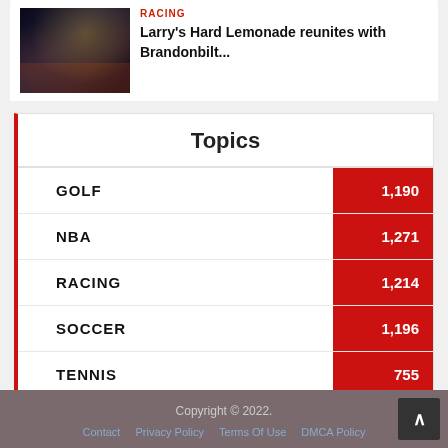[Figure (photo): Night city street lights photo thumbnail]
RACING
Larry's Hard Lemonade reunites with Brandonbilt...
Topics
| Topic | Count |
| --- | --- |
| GOLF | 1,190 |
| NBA | 1,271 |
| RACING | 1,214 |
| SOCCER | 1,196 |
| TENNIS | 755 |
Copyright © 2022. Contact Privacy Policy Terms Of Use DMCA Policy